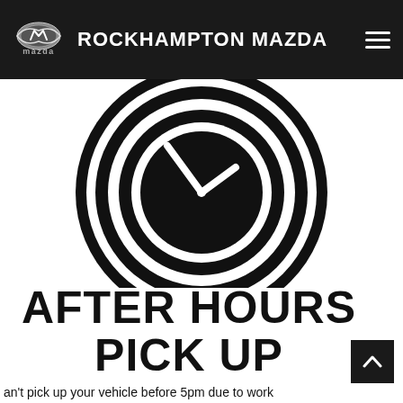ROCKHAMPTON MAZDA
[Figure (illustration): Black and white clock icon with concentric circles, clock face showing approximately 10:10, minimalist icon style on white background]
AFTER HOURS PICK UP
an't pick up your vehicle before 5pm due to work